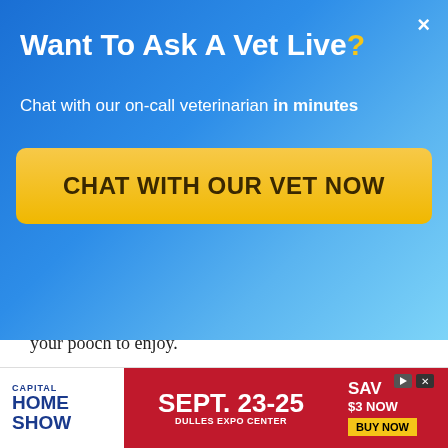[Figure (screenshot): Blue gradient promotional banner overlay asking 'Want To Ask A Vet Live?' with subtitle 'Chat with our on-call veterinarian in minutes' and a yellow call-to-action button 'CHAT WITH OUR VET NOW' and a close X button.]
your pooch to enjoy.
One thing that you will have to do for your Neapolitan Mastiff is clean their wrinkles and the skin folds that they have. You want to ensure that the skin is dry so that it does not become uncomfortable for your canine and to avoid infections.
Where can I Find a
[Figure (infographic): Advertisement banner for Capital Home Show, Sept. 23-25, Dulles Expo Center, with 'SAVE $3 NOW BUY NOW' call to action on red background.]